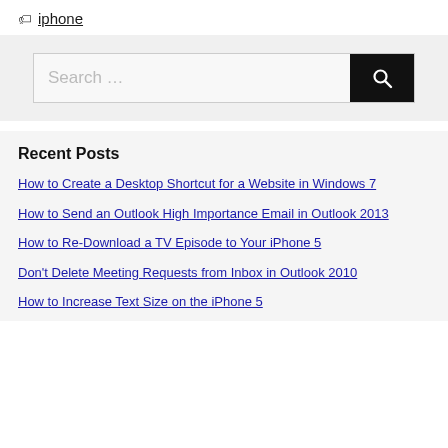Tags iphone
[Figure (screenshot): Search box with text placeholder 'Search ...' and a black search button with magnifying glass icon]
Recent Posts
How to Create a Desktop Shortcut for a Website in Windows 7
How to Send an Outlook High Importance Email in Outlook 2013
How to Re-Download a TV Episode to Your iPhone 5
Don't Delete Meeting Requests from Inbox in Outlook 2010
How to Increase Text Size on the iPhone 5